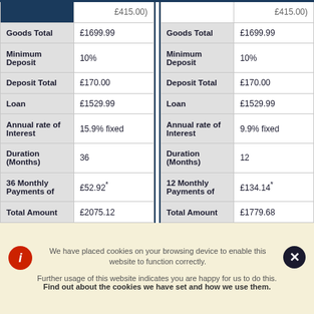|  |  |
| --- | --- |
|  | £415.00) |
| Goods Total | £1699.99 |
| Minimum Deposit | 10% |
| Deposit Total | £170.00 |
| Loan | £1529.99 |
| Annual rate of Interest | 15.9% fixed |
| Duration (Months) | 36 |
| 36 Monthly Payments of | £52.92* |
| Total Amount | £2075.12 |
|  |  |
| --- | --- |
|  | £415.00) |
| Goods Total | £1699.99 |
| Minimum Deposit | 10% |
| Deposit Total | £170.00 |
| Loan | £1529.99 |
| Annual rate of Interest | 9.9% fixed |
| Duration (Months) | 12 |
| 12 Monthly Payments of | £134.14* |
| Total Amount | £1779.68 |
We have placed cookies on your browsing device to enable this website to function correctly.
Further usage of this website indicates you are happy for us to do this.
Find out about the cookies we have set and how we use them.